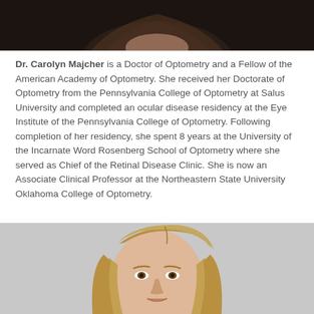[Figure (photo): Top portion of a headshot photo of Dr. Carolyn Majcher, showing a woman with long blonde hair against a dark background.]
Dr. Carolyn Majcher is a Doctor of Optometry and a Fellow of the American Academy of Optometry. She received her Doctorate of Optometry from the Pennsylvania College of Optometry at Salus University and completed an ocular disease residency at the Eye Institute of the Pennsylvania College of Optometry. Following completion of her residency, she spent 8 years at the University of the Incarnate Word Rosenberg School of Optometry where she served as Chief of the Retinal Disease Clinic. She is now an Associate Clinical Professor at the Northeastern State University Oklahoma College of Optometry.
[Figure (photo): Headshot photo of another person, a woman with blonde hair against a light gray background.]